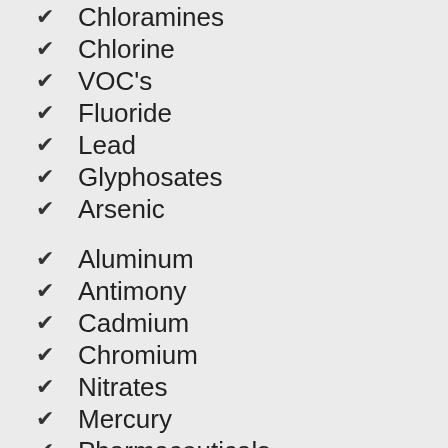Chloramines
Chlorine
VOC's
Fluoride
Lead
Glyphosates
Arsenic
Aluminum
Antimony
Cadmium
Chromium
Nitrates
Mercury
Pharmaceuticals